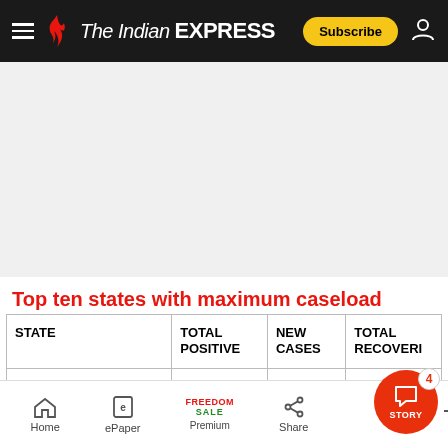The Indian EXPRESS — navigation header with Subscribe button
[Figure (other): Advertisement placeholder — grey rectangle]
Top ten states with maximum caseload
| STATE | TOTAL POSITIVE | NEW CASES | TOTAL RECOVERIES |
| --- | --- | --- | --- |
Home | ePaper | Premium (Freedom Sale) | Share | Story